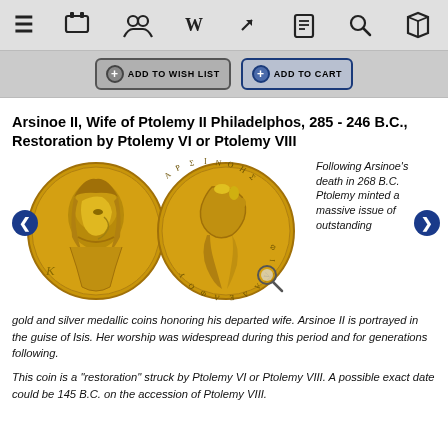Navigation bar with hamburger menu, icons for store, users, Wikipedia, link, document, search, cart
[Figure (screenshot): Add to Wish List and Add to Cart buttons on a gray bar]
Arsinoe II, Wife of Ptolemy II Philadelphos, 285 - 246 B.C., Restoration by Ptolemy VI or Ptolemy VIII
[Figure (photo): Two gold coins: obverse showing portrait of Arsinoe II as Isis, reverse showing cornucopia with Greek inscription ARSINOES PHILADELPHOU]
Following Arsinoe's death in 268 B.C. Ptolemy minted a massive issue of outstanding gold and silver medallic coins honoring his departed wife. Arsinoe II is portrayed in the guise of Isis. Her worship was widespread during this period and for generations following.
This coin is a "restoration" struck by Ptolemy VI or Ptolemy VIII. A possible exact date could be 145 B.C. on the accession of Ptolemy VIII.